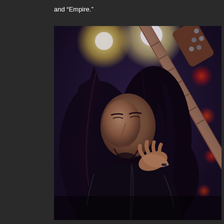and “Empire.”
[Figure (photo): A male guitarist with long curly dark hair, wearing a black leather jacket, playing an electric guitar on stage. Stage lights are visible in the background, including yellow spotlights and red bokeh lights. The musician is looking down at the guitar fretboard.]